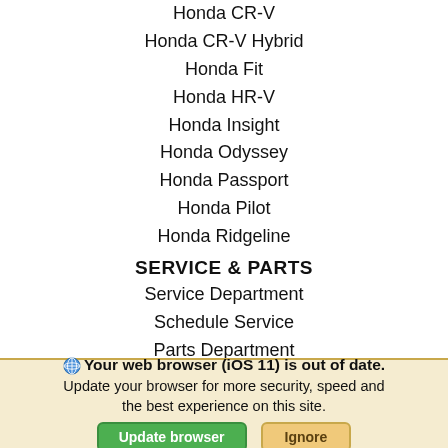Honda CR-V
Honda CR-V Hybrid
Honda Fit
Honda HR-V
Honda Insight
Honda Odyssey
Honda Passport
Honda Pilot
Honda Ridgeline
SERVICE & PARTS
Service Department
Schedule Service
Parts Department
Order Parts
Honda Battery
Honda Brakes
Honda Oil Change
Honda Parts
Your web browser (iOS 11) is out of date. Update your browser for more security, speed and the best experience on this site.